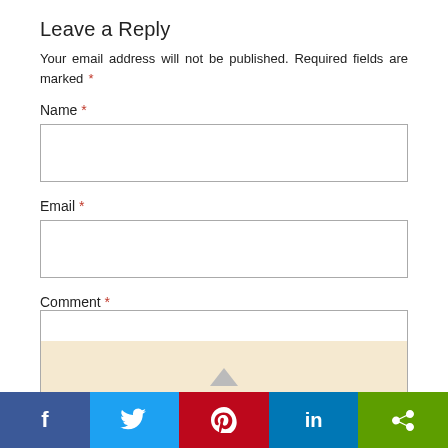Leave a Reply
Your email address will not be published. Required fields are marked *
Name *
Email *
Comment *